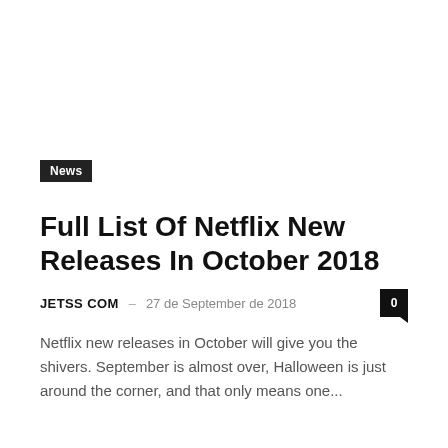News
Full List Of Netflix New Releases In October 2018
JETSS COM – 27 de September de 2018   0
Netflix new releases in October will give you the shivers. September is almost over, Halloween is just around the corner, and that only means one...